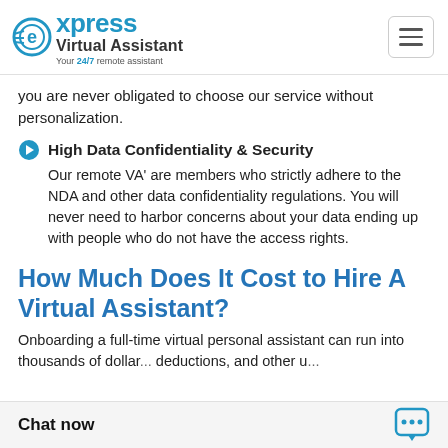Express Virtual Assistant — Your 24/7 remote assistant
you are never obligated to choose our service without personalization.
High Data Confidentiality & Security — Our remote VA' are members who strictly adhere to the NDA and other data confidentiality regulations. You will never need to harbor concerns about your data ending up with people who do not have the access rights.
How Much Does It Cost to Hire A Virtual Assistant?
Onboarding a full-time virtual personal assistant can run into thousands of dollar... deductions, and other u...